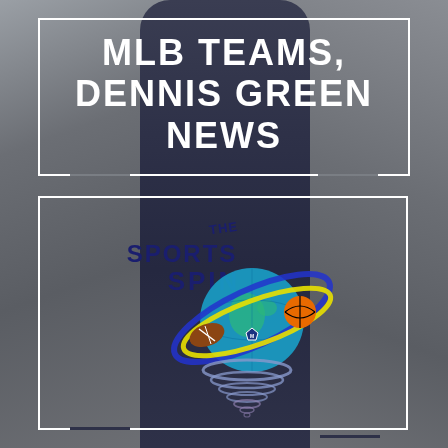MLB TEAMS, DENNIS GREEN NEWS
[Figure (logo): The Sports Spin logo featuring a globe with sports balls (football, basketball, soccer ball) orbited by blue and yellow rings, with a tornado/spin swirl below, and 'THE SPORTS SPIN' text above in dark blue]